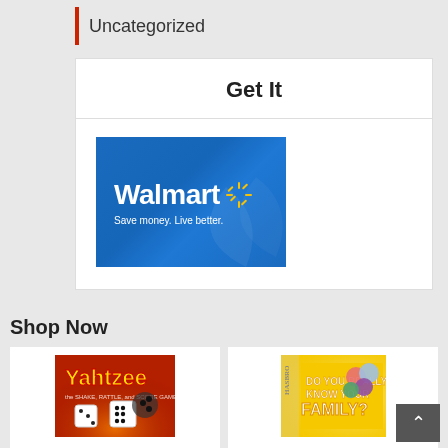Uncategorized
Get It
[Figure (logo): Walmart logo on blue gradient background with spark symbol and tagline: Save money. Live better.]
Shop Now
[Figure (photo): Yahtzee board game box showing dice]
Yahtzee
[Figure (photo): Do You Really Know Your Family? game box]
Do You Really Know Your